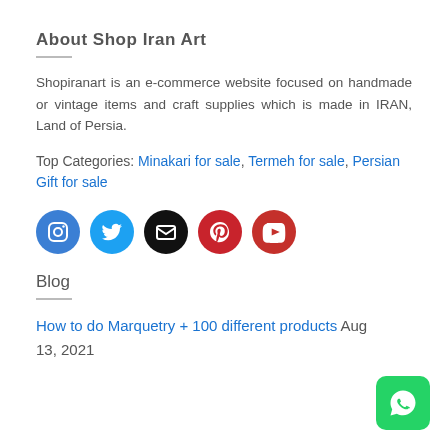About Shop Iran Art
Shopiranart is an e-commerce website focused on handmade or vintage items and craft supplies which is made in IRAN, Land of Persia.
Top Categories: Minakari for sale, Termeh for sale, Persian Gift for sale
[Figure (infographic): Five social media icon circles: Instagram (blue), Twitter (blue), Email (black), Pinterest (red), YouTube (red)]
Blog
How to do Marquetry + 100 different products Aug 13, 2021